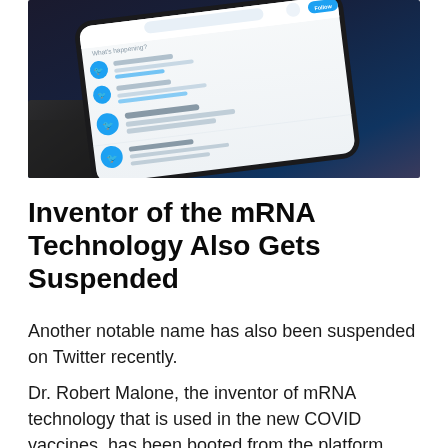[Figure (photo): A blurred close-up photo of a smartphone displaying the Twitter app interface, showing tweets, avatars with Twitter bird icons, a follow button, and search bar, resting on a dark surface.]
Inventor of the mRNA Technology Also Gets Suspended
Another notable name has also been suspended on Twitter recently.
Dr. Robert Malone, the inventor of mRNA technology that is used in the new COVID vaccines, has been booted from the platform